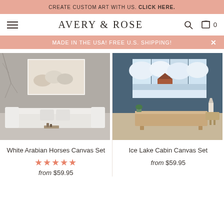CREATE CUSTOM ART WITH US. CLICK HERE.
AVERY & ROSE
MADE IN THE USA! FREE U.S. SHIPPING!
[Figure (photo): White Arabian horses running, framed canvas art displayed above a white sofa in a light gray room]
White Arabian Horses Canvas Set
★★★★★ from $59.95
[Figure (photo): Multi-panel canvas set of a snowy winter cabin and frozen lake, displayed on a dark blue wall above a modern sideboard]
Ice Lake Cabin Canvas Set
from $59.95